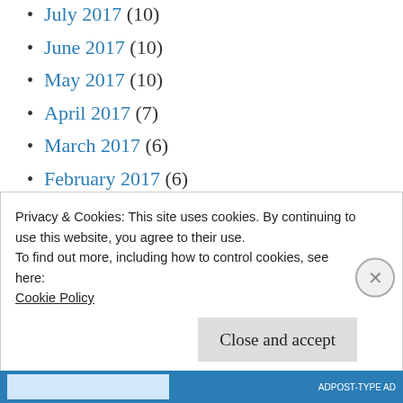July 2017 (10)
June 2017 (10)
May 2017 (10)
April 2017 (7)
March 2017 (6)
February 2017 (6)
January 2017 (9)
December 2016 (7)
November 2016 (7)
October 2016 (5)
Privacy & Cookies: This site uses cookies. By continuing to use this website, you agree to their use.
To find out more, including how to control cookies, see here:
Cookie Policy
Close and accept